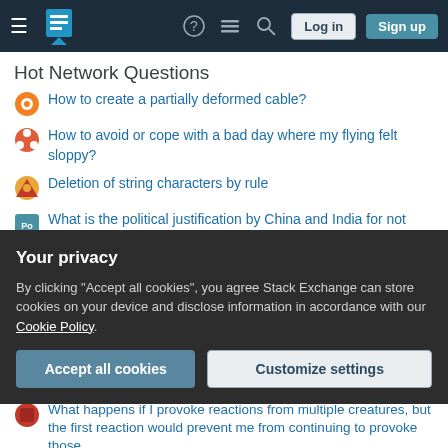Stack Exchange navigation bar with Log in and Sign up buttons
Hot Network Questions
How to create a partially deformed cable?
How to avoid or cope with a bad day where my flying felt sloppy?
Deletion of string characters by rule
What is the political justification by China and India for not participating in the sanctions against Russia?
Why is the spot price of electricity determined by the highest price that gets offered? Can't they scale it according to the actually offered prices?
What happens if you don't Reap what you've Sown?
What are the requirements to get a short business visa to Spain?
Your privacy
By clicking "Accept all cookies", you agree Stack Exchange can store cookies on your device and disclose information in accordance with our Cookie Policy.
What happens if I provoke reactions from multiple creatures, but the first reaction would prevent me from continuing to provoke those